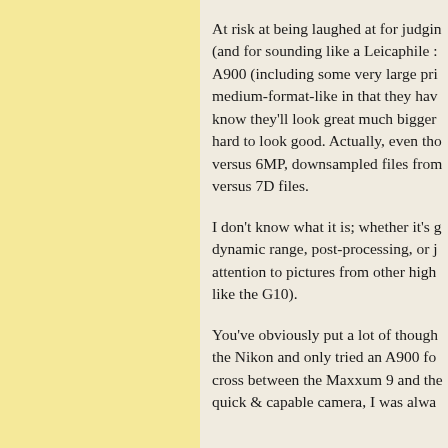At risk at being laughed at for judging (and for sounding like a Leicaphile : A900 (including some very large pri medium-format-like in that they hav know they'll look great much bigger hard to look good. Actually, even tho versus 6MP, downsampled files from versus 7D files.
I don't know what it is; whether it's g dynamic range, post-processing, or j attention to pictures from other high like the G10).
You've obviously put a lot of though the Nikon and only tried an A900 fo cross between the Maxxum 9 and the quick & capable camera, I was alwa